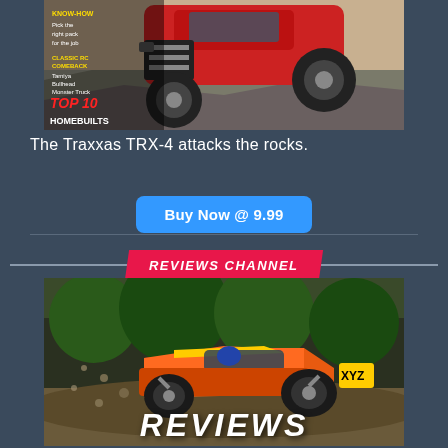[Figure (photo): Magazine cover showing an RC truck (Traxxas TRX-4) climbing rocks, with text overlays: 'KNOW-HOW Pick the right pack for the job', 'CLASSIC RC COMEBACK Tamiya Bullhead Monster Truck', 'TOP 10 HOMEBUILTS']
The Traxxas TRX-4 attacks the rocks.
Buy Now @ 9.99
REVIEWS CHANNEL
[Figure (photo): RC short course truck racing with dirt flying, with bold italic text 'REVIEWS' overlaid at the bottom]